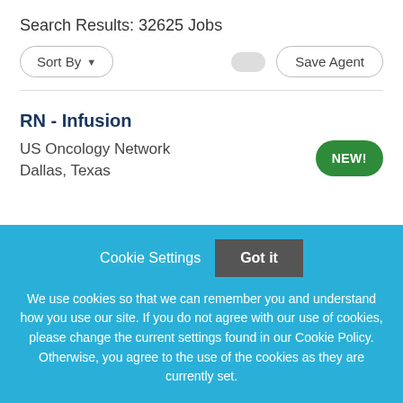Search Results: 32625 Jobs
Sort By
Save Agent
RN - Infusion
US Oncology Network
Dallas, Texas
NEW!
Cookie Settings
Got it
We use cookies so that we can remember you and understand how you use our site. If you do not agree with our use of cookies, please change the current settings found in our Cookie Policy. Otherwise, you agree to the use of the cookies as they are currently set.